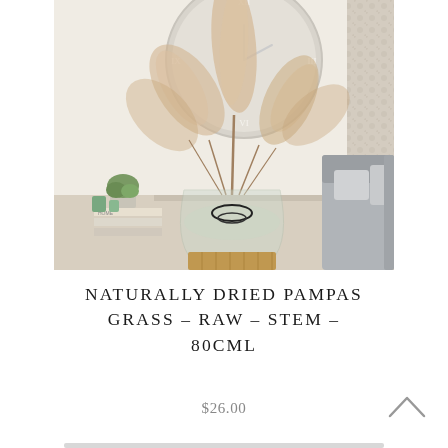[Figure (photo): A living room scene showing dried pampas grass arranged in a large round glass vase sitting on a wicker base on a marble coffee table. In the background is a large round wall clock with Roman numerals, floral curtains, stacked books, a small potted plant, green candle holders, and a grey sofa.]
NATURALLY DRIED PAMPAS GRASS – RAW – STEM – 80CML
$26.00